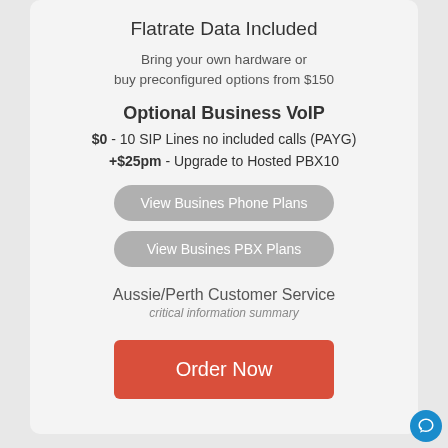Flatrate Data Included
Bring your own hardware or buy preconfigured options from $150
Optional Business VoIP
$0 - 10 SIP Lines no included calls (PAYG)
+$25pm - Upgrade to Hosted PBX10
View Busines Phone Plans
View Busines PBX Plans
Aussie/Perth Customer Service
critical information summary
Order Now